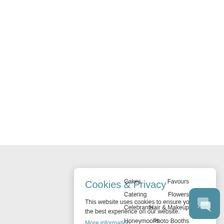Cookies & Privacy
This website uses cookies to ensure you get the best experience on our website.
More information
Accept Cookies
Cakes
Favours
Catering
Flowers
Celebrants
Hair & Makeup
Honeymoons
Photo Booths
[Figure (screenshot): Chat widget icon in teal/blue-green rounded square]